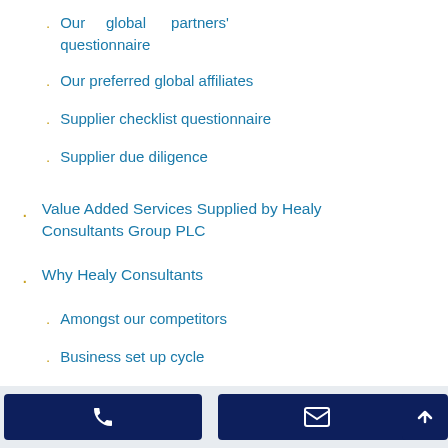Our global partners' questionnaire
Our preferred global affiliates
Supplier checklist questionnaire
Supplier due diligence
Value Added Services Supplied by Healy Consultants Group PLC
Why Healy Consultants
Amongst our competitors
Business set up cycle
The A to Z of business set up